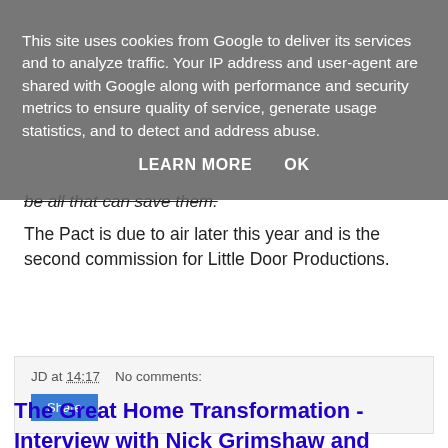This site uses cookies from Google to deliver its services and to analyze traffic. Your IP address and user-agent are shared with Google along with performance and security metrics to ensure quality of service, generate usage statistics, and to detect and address abuse.
LEARN MORE   OK
be all that can save them.
The Pact is due to air later this year and is the second commission for Little Door Productions.
JD at 14:17   No comments:
Share
The Great Home Transformation - Interview with Nick Grimshaw and Emma Willis